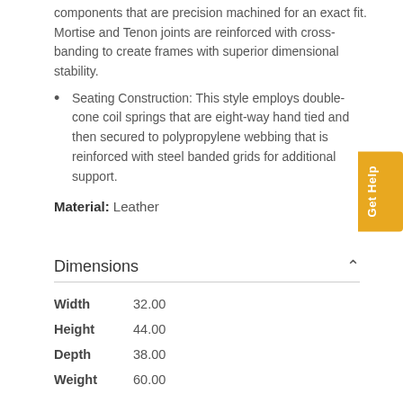components that are precision machined for an exact fit. Mortise and Tenon joints are reinforced with cross-banding to create frames with superior dimensional stability.
Seating Construction: This style employs double-cone coil springs that are eight-way hand tied and then secured to polypropylene webbing that is reinforced with steel banded grids for additional support.
Material: Leather
Dimensions
|  |  |
| --- | --- |
| Width | 32.00 |
| Height | 44.00 |
| Depth | 38.00 |
| Weight | 60.00 |